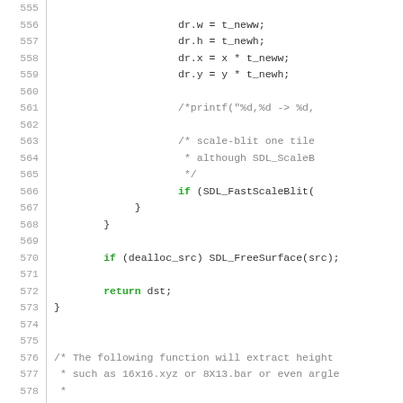[Figure (other): Source code listing in C, lines 555-584, showing SDL scale-blit tile function code and a strtoii function signature with comments]